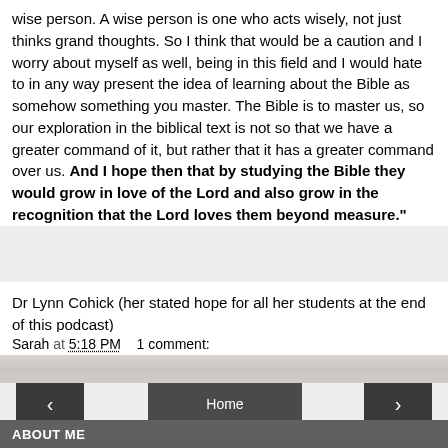wise person. A wise person is one who acts wisely, not just thinks grand thoughts. So I think that would be a caution and I worry about myself as well, being in this field and I would hate to in any way present the idea of learning about the Bible as somehow something you master. The Bible is to master us, so our exploration in the biblical text is not so that we have a greater command of it, but rather that it has a greater command over us. And I hope then that by studying the Bible they would grow in love of the Lord and also grow in the recognition that the Lord loves them beyond measure."
Dr Lynn Cohick (her stated hope for all her students at the end of this podcast)
Sarah at 5:18 PM    1 comment:
[Figure (other): Navigation bar with previous arrow button on left, Home button in center, next arrow button on right]
View web version
ABOUT ME